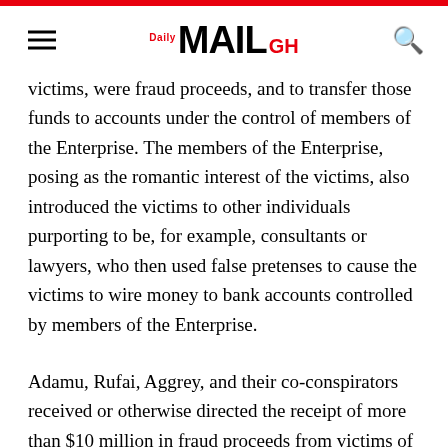Daily MAIL GH
victims, were fraud proceeds, and to transfer those funds to accounts under the control of members of the Enterprise. The members of the Enterprise, posing as the romantic interest of the victims, also introduced the victims to other individuals purporting to be, for example, consultants or lawyers, who then used false pretenses to cause the victims to wire money to bank accounts controlled by members of the Enterprise.
Adamu, Rufai, Aggrey, and their co-conspirators received or otherwise directed the receipt of more than $10 million in fraud proceeds from victims of the Enterprise in bank accounts that they controlled in the Bronx, New York.  Some of these bank accounts were opened using fake names, stolen identities, or shell companies in order to avoid detection and hide the true identities of the members of the